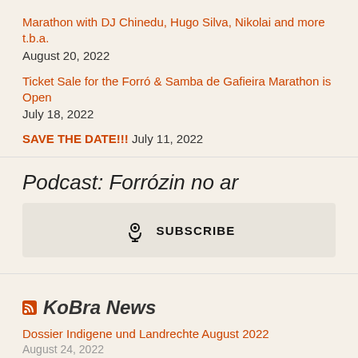Marathon with DJ Chinedu, Hugo Silva, Nikolai and more t.b.a.
August 20, 2022
Ticket Sale for the Forró & Samba de Gafieira Marathon is Open
July 18, 2022
SAVE THE DATE!!! July 11, 2022
Podcast: Forrózin no ar
[Figure (other): Subscribe button with podcast icon and text SUBSCRIBE]
KoBra News
Dossier Indigene und Landrechte August 2022
August 24, 2022